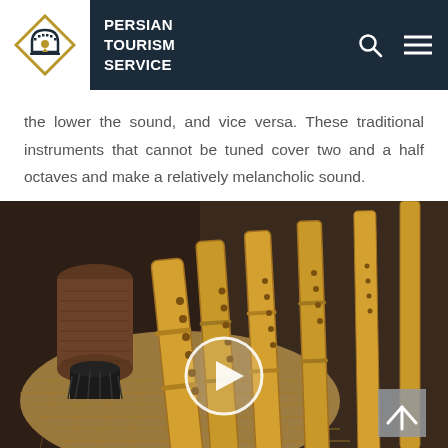PERSIAN TOURISM SERVICE
the lower the sound, and vice versa. These traditional instruments that cannot be tuned cover two and a half octaves and make a relatively melancholic sound.
[Figure (photo): Photo of traditional Persian ney flutes (bamboo flutes) laid on a woven mat, with a cork/reed mouthpiece piece visible. A circular play button overlay indicates this is a video thumbnail.]